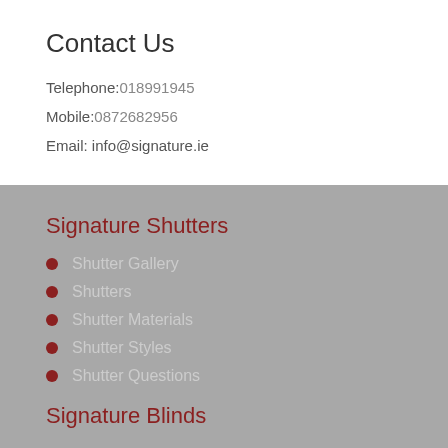Contact Us
Telephone:018991945
Mobile:0872682956
Email: info@signature.ie
Signature Shutters
Shutter Gallery
Shutters
Shutter Materials
Shutter Styles
Shutter Questions
Signature Blinds